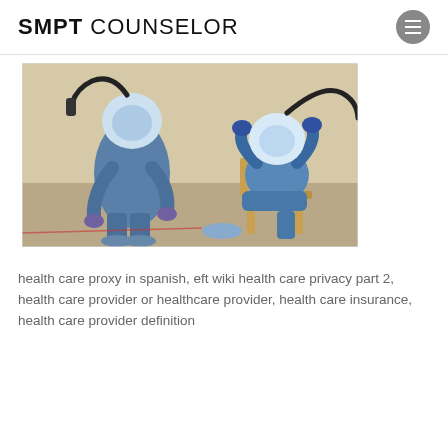SMPT COUNSELOR
[Figure (photo): Two medical workers in full blue protective gear and powered air-purifying respirators (PAPRs). One worker is seated in a chair while the other, standing and bending over, assists with putting on or removing protective boot covers.]
health care proxy in spanish, eft wiki health care privacy part 2, health care provider or healthcare provider, health care insurance, health care provider definition